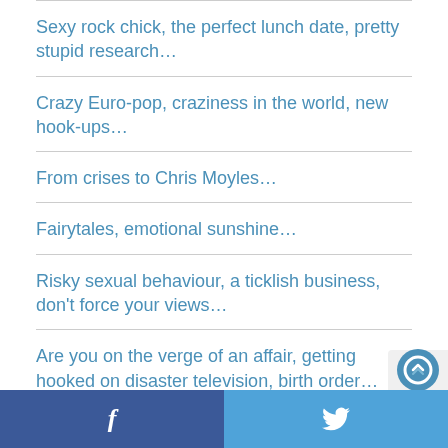Sexy rock chick, the perfect lunch date, pretty stupid research…
Crazy Euro-pop, craziness in the world, new hook-ups…
From crises to Chris Moyles…
Fairytales, emotional sunshine…
Risky sexual behaviour, a ticklish business, don't force your views…
Are you on the verge of an affair, getting hooked on disaster television, birth order…
f  🐦